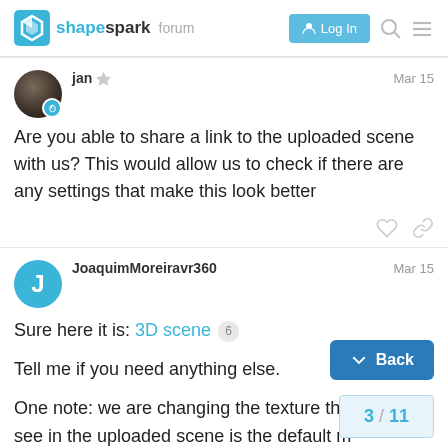shapespark forum  Log In
jan  Mar 15
Are you able to share a link to the uploaded scene with us? This would allow us to check if there are any settings that make this look better
JoaquimMoreiravr360  Mar 15
Sure here it is: 3D scene 6
Tell me if you need anything else.
One note: we are changing the texture thro see in the uploaded scene is the default m